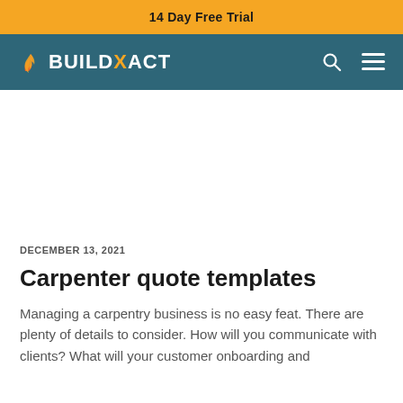14 Day Free Trial
[Figure (logo): Buildxact logo with flame icon on teal navigation bar with search and menu icons]
DECEMBER 13, 2021
Carpenter quote templates
Managing a carpentry business is no easy feat. There are plenty of details to consider. How will you communicate with clients? What will your customer onboarding and